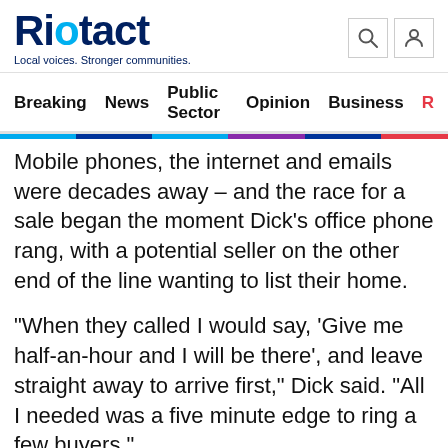Riotact — Local voices. Stronger communities.
Breaking  News  Public Sector  Opinion  Business
Mobile phones, the internet and emails were decades away – and the race for a sale began the moment Dick's office phone rang, with a potential seller on the other end of the line wanting to list their home.
“When they called I would say, ‘Give me half-an-hour and I will be there’, and leave straight away to arrive first,” Dick said. “All I needed was a five minute edge to ring a few buyers.”